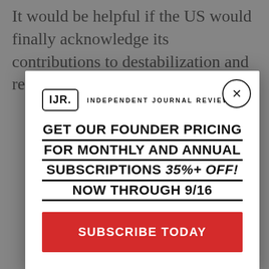It would be helpful if the US would finally acknowledge its contributions to destabilization and regime change in the
[Figure (screenshot): Modal popup for Independent Journal Review subscription promotion. Contains IJR logo, headline 'GET OUR FOUNDER PRICING FOR MONTHLY AND ANNUAL SUBSCRIPTIONS 35%+ OFF! NOW THROUGH 9/16', and a red 'SUBSCRIBE TODAY' button. A close (X) button appears in the top-right corner of the modal.]